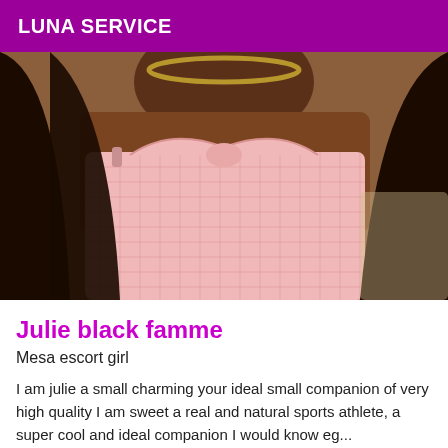LUNA SERVICE
[Figure (photo): A woman wearing a pink lace strapless top and a gold necklace, photographed from neck to waist.]
Julie black famme
Mesa escort girl
I am julie a small charming your ideal small companion of very high quality I am sweet a real and natural sports athlete, a super cool and ideal companion I would know eg...